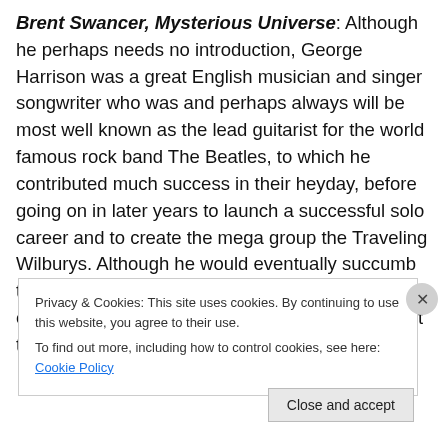Brent Swancer, Mysterious Universe: Although he perhaps needs no introduction, George Harrison was a great English musician and singer songwriter who was and perhaps always will be most well known as the lead guitarist for the world famous rock band The Beatles, to which he contributed much success in their heyday, before going on in later years to launch a successful solo career and to create the mega group the Traveling Wilburys. Although he would eventually succumb to lung cancer in 2001, one of the most frightening chapters in rock history happened to Harrison just two years before, when a
Privacy & Cookies: This site uses cookies. By continuing to use this website, you agree to their use. To find out more, including how to control cookies, see here: Cookie Policy
Close and accept